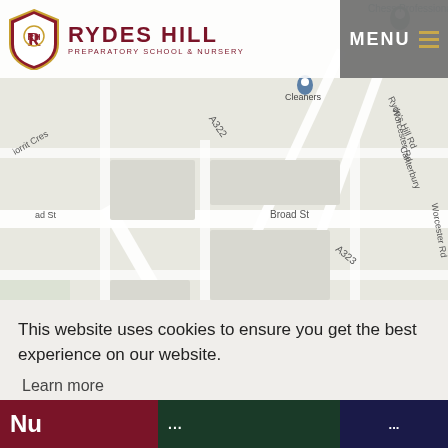[Figure (screenshot): Google Maps screenshot showing area around Rydes Hill Preparatory School in Guildford, UK. Roads visible include A323, Ryde's Hill Rd, Worcester Rd, Broad St. Landmarks include St Joseph's Catholic Primary School, Surrey Bathrooms & Interiors, Xenzos. Map pins visible.]
RYDES HILL PREPARATORY SCHOOL & NURSERY — MENU
This website uses cookies to ensure you get the best experience on our website.
Learn more
Got it!
Nu...